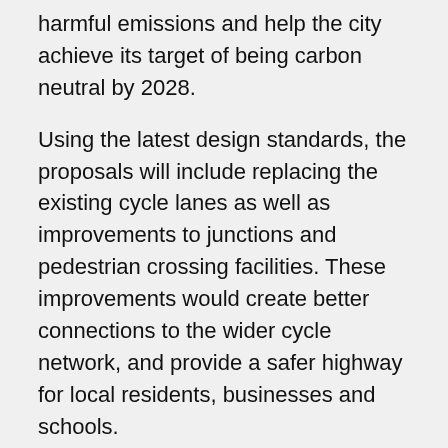harmful emissions and help the city achieve its target of being carbon neutral by 2028.
Using the latest design standards, the proposals will include replacing the existing cycle lanes as well as improvements to junctions and pedestrian crossing facilities. These improvements would create better connections to the wider cycle network, and provide a safer highway for local residents, businesses and schools.
The key features of the proposed improvements are:
Segregated single-way cycle lanes on both sides of Wigman Road